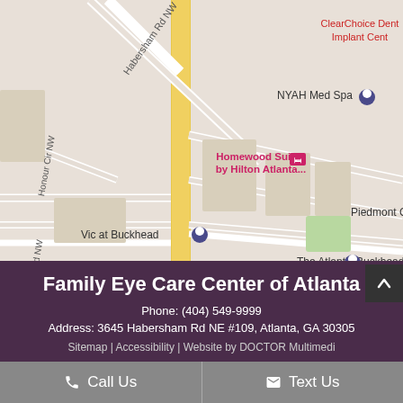[Figure (map): Google Maps view of Buckhead area in Atlanta, NW, showing landmarks including Habersham Rd NW, NYAH Med Spa, Homewood Suites by Hilton Atlanta, Piedmont Cent, The Atlantic Buckhead, Vic at Buckhead, Ann St NW, Karland Dr NW, Lifegate Counseling Center, Lakeland Dr NE, The Barclay, ClearChoice Dental Implant Center, and other streets and locations.]
Family Eye Care Center of Atlanta
Phone: (404) 549-9999
Address: 3645 Habersham Rd NE #109, Atlanta, GA 30305
Sitemap | Accessibility | Website by DOCTOR Multimedia
Call Us   Text Us